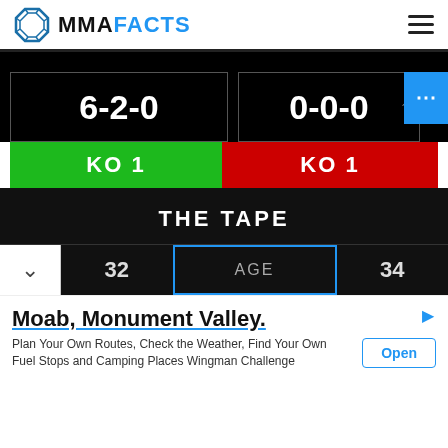MMA FACTS
6-2-0
0-0-0
KO 1
KO 1
THE TAPE
32  AGE  34
Moab, Monument Valley.
Plan Your Own Routes, Check the Weather, Find Your Own Fuel Stops and Camping Places Wingman Challenge